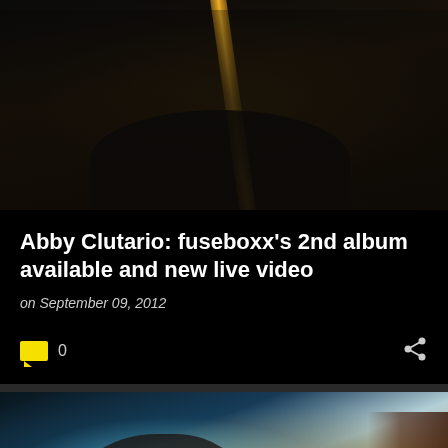[Figure (photo): Person playing guitar with orange/yellow neck, dark background, wearing black shirt]
Abby Clutario: fuseboxx's 2nd album available and new live video
on September 09, 2012
[Figure (photo): Woman playing a multi-string guitar on stage, lit with blue/teal stage lighting, wearing in-ear monitor]